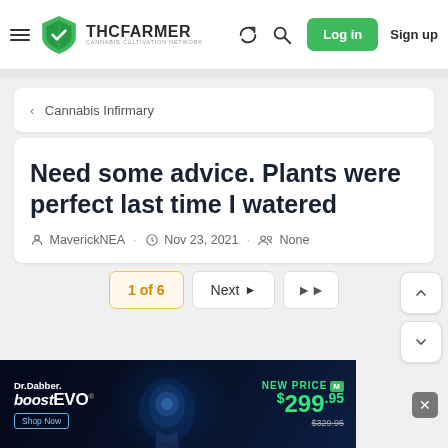THC FARMER — Cannabis Cultivation Network — Log in — Sign up
< Cannabis Infirmary
Need some advice. Plants were perfect last time I watered
MaverickNEA · Nov 23, 2021 · None
1 of 6  Next  ▶▶
[Figure (screenshot): Dr.Dabber boost evo advertisement banner. NEW PRICE $299.95 (was $329.95). Shop Now button.]